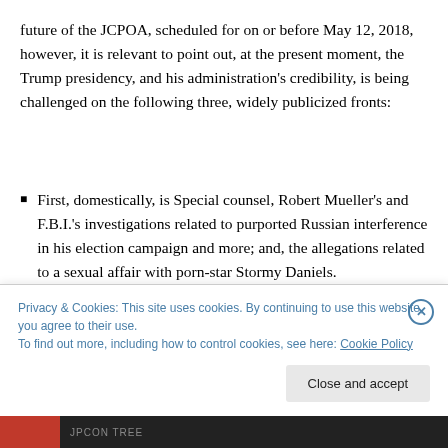future of the JCPOA, scheduled for on or before May 12, 2018, however, it is relevant to point out, at the present moment, the Trump presidency, and his administration’s credibility, is being challenged on the following three, widely publicized fronts:
First, domestically, is Special counsel, Robert Mueller’s and F.B.I.’s investigations related to purported Russian interference in his election campaign and more; and, the allegations related to a sexual affair with porn-star Stormy Daniels.
Privacy & Cookies: This site uses cookies. By continuing to use this website, you agree to their use.
To find out more, including how to control cookies, see here: Cookie Policy